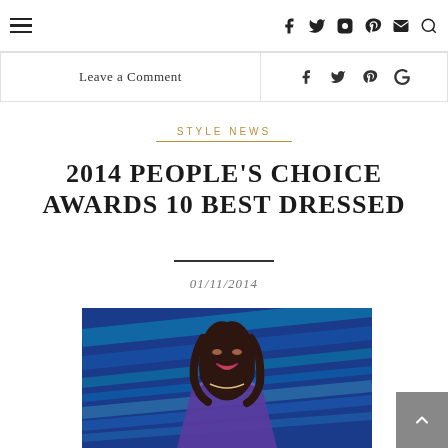Navigation icons: hamburger menu, facebook, twitter, instagram, pinterest, email, search
Leave a Comment  f  y  p  G+
STYLE NEWS
2014 PEOPLE'S CHOICE AWARDS 10 BEST DRESSED
01/11/2014
[Figure (photo): A smiling brunette woman in a blue strapless dress at the 2014 People's Choice Awards, with blue light streaks in the background]